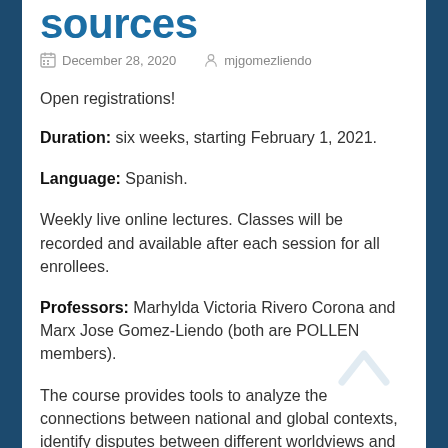sources
December 28, 2020   mjgomezliendo
Open registrations!
Duration: six weeks, starting February 1, 2021.
Language: Spanish.
Weekly live online lectures. Classes will be recorded and available after each session for all enrollees.
Professors: Marhylda Victoria Rivero Corona and Marx Jose Gomez-Liendo (both are POLLEN members).
The course provides tools to analyze the connections between national and global contexts, identify disputes between different worldviews and valuation